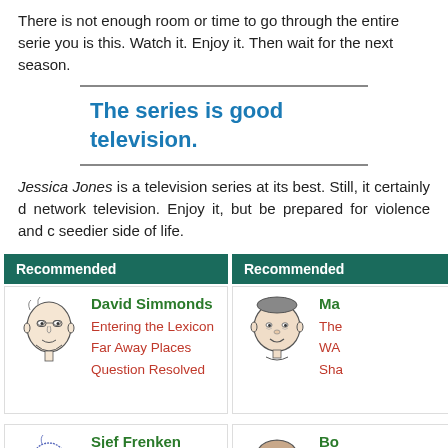There is not enough room or time to go through the entire serie... you is this. Watch it. Enjoy it. Then wait for the next season.
The series is good television.
Jessica Jones is a television series at its best. Still, it certainly d... network television. Enjoy it, but be prepared for violence and c... seedier side of life.
Recommended
[Figure (illustration): Caricature portrait of David Simmonds]
David Simmonds
Entering the Lexicon
Far Away Places
Question Resolved
Recommended
[Figure (illustration): Caricature portrait of a second person (Ma...)]
Ma...
The...
WA...
Sha...
[Figure (illustration): Caricature portrait of Sjef Frenken]
Sjef Frenken
Vehicular Vexation
Social Intercourse
A Reminiscence
[Figure (illustration): Caricature portrait of Bo...]
Bo...
Del...
Bob...
NH...